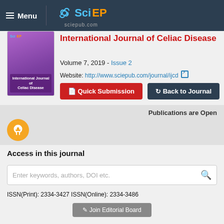Menu | SciEP sciepub.com
International Journal of Celiac Disease
Volume 7, 2019 - Issue 2
Website: http://www.sciepub.com/journal/ijcd
Quick Submission   Back to Journal
Publications are Open
[Figure (logo): Open Access orange circular badge with unlock icon]
Access in this journal
Enter keywords, authors, DOI etc.
ISSN(Print): 2334-3427  ISSN(Online): 2334-3486